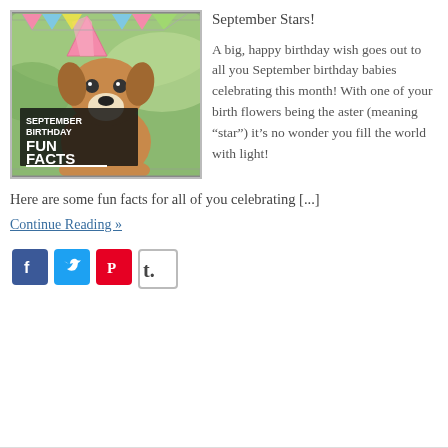[Figure (photo): A boxer puppy wearing a party hat with colorful bunting, with text overlay reading 'SEPTEMBER BIRTHDAY FUN FACTS']
September Stars!
A big, happy birthday wish goes out to all you September birthday babies celebrating this month! With one of your birth flowers being the aster (meaning “star”) it’s no wonder you fill the world with light!
Here are some fun facts for all of you celebrating [...]
Continue Reading »
[Figure (logo): Social media sharing icons: Facebook (blue), Twitter (blue), Pinterest (red), Tumblr (grey/white)]